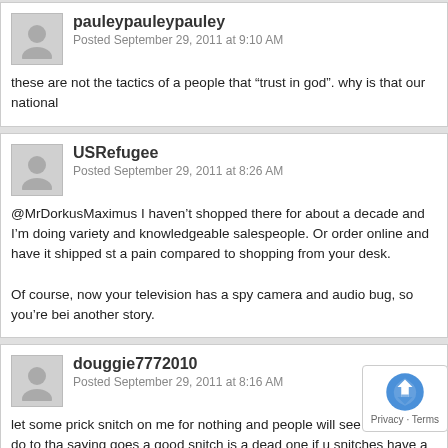pauleypauleyp​auley
Posted September 29, 2011 at 9:10 AM
these are not the tactics of a people that "trust in god". why is that our national
USRefugee
Posted September 29, 2011 at 8:26 AM
@MrDorkusMaximus I haven't shopped there for about a decade and I'm doing variety and knowledgeable salespeople. Or order online and have it shipped st a pain compared to shopping from your desk.

Of course, now your television has a spy camera and audio bug, so you're bei another story.
douggie7772010
Posted September 29, 2011 at 8:16 AM
let some prick snitch on me for nothing and people will see what i will do to tha saying goes a good snitch is a dead one if u snitches have a prob snitch is a dead snitch bitches!!!